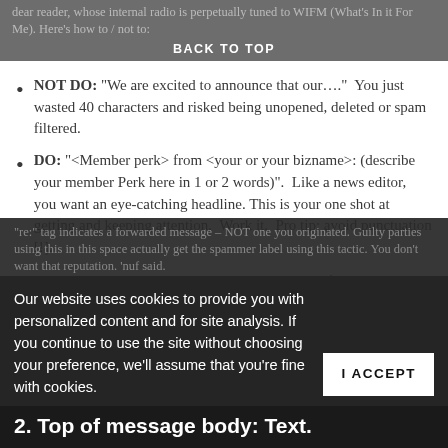BACK TO TOP
dear reader, whose internal radio is perpetually tuned to WIFM (What's In it For Me). Here's how to / not to:
NOT DO: “We are excited to announce that our….”  You just wasted 40 characters and risked being unopened, deleted or spam filtered.
DO: “<Member perk> from <your or your bizname>: (describe your member Perk here in 1 or 2 words)”.  Like a news editor, you want an eye-catching headline. This is your one shot at getting and keeping attention.  Work it.  Pro tip: avoid punctuation [!].
Avoid gimmicks.  Example: the “re:” gimmick spoof.  The “re:” tag indicates a forwarded message – NOT one you originated. Guilty parties using this in this space actually get the spammer label using this tactic. You don’t want that reputation. ‘nuf said.
Our website uses cookies to provide you with personalized content and for site analysis. If you continue to use the site without choosing your preference, we’ll assume that you’re fine with cookies.
2. Top of message body: Text.